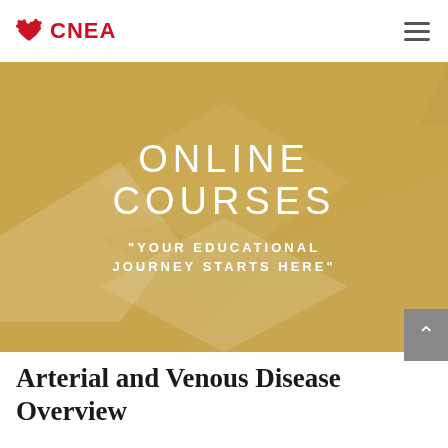CNEA
[Figure (illustration): Golden/tan hero banner with geometric diamond/chevron shapes overlay and white text reading ONLINE COURSES and YOUR EDUCATIONAL JOURNEY STARTS HERE]
Arterial and Venous Disease Overview